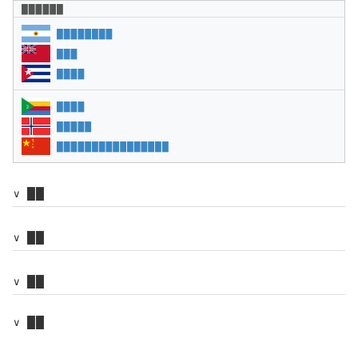██████
████████
███
████
████
█████
████████████████
██
██
██
██